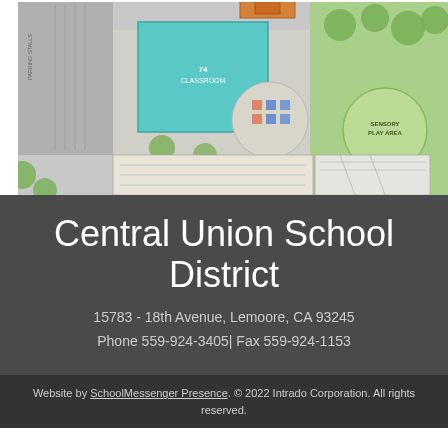[Figure (map): Aerial/site plan map of a school campus showing parking stalls, classrooms (teal/cyan building labeled '74 CLASSROOM'), trees, paved areas, a circular courtyard with colored play elements, a 'SENSORY PLAY AREA', and various building structures.]
Central Union School District
15783 - 18th Avenue, Lemoore, CA 93245
Phone 559-924-3405| Fax 559-924-1153
Website by SchoolMessenger Presence. © 2022 Intrado Corporation. All rights reserved.